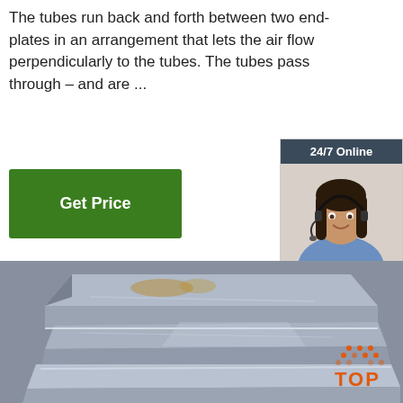The tubes run back and forth between two end-plates in an arrangement that lets the air flow perpendicularly to the tubes. The tubes pass through – and are ...
[Figure (other): Green 'Get Price' button]
[Figure (other): 24/7 Online chat widget with woman wearing headset, 'Click here for free chat!' text, and orange QUOTATION button]
[Figure (photo): Stack of steel plates photographed at an angle showing metallic surfaces with rust and scratches]
[Figure (logo): TOP logo with orange dot pattern above orange text 'TOP']